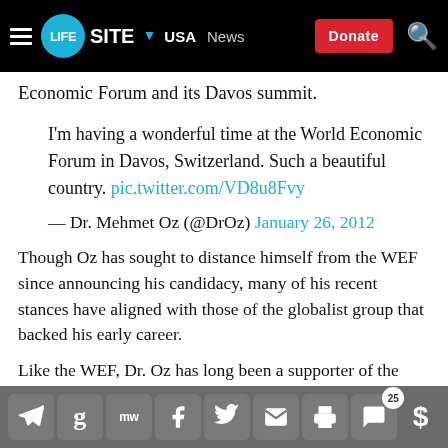LifeSite | USA | News | Donate
Economic Forum and its Davos summit.
I'm having a wonderful time at the World Economic Forum in Davos, Switzerland. Such a beautiful country. pic.twitter.com/VD8u8Fvy

— Dr. Mehmet Oz (@DrOz) January 26, 2012
Though Oz has sought to distance himself from the WEF since announcing his candidacy, many of his recent stances have aligned with those of the globalist group that backed his early career.
Like the WEF, Dr. Oz has long been a supporter of the LGBTQ movement. He denounced therapy for
Social share toolbar with icons: Telegram, Gettr, MeWe, Facebook, Twitter, Email, Print, Comments (25), Donate